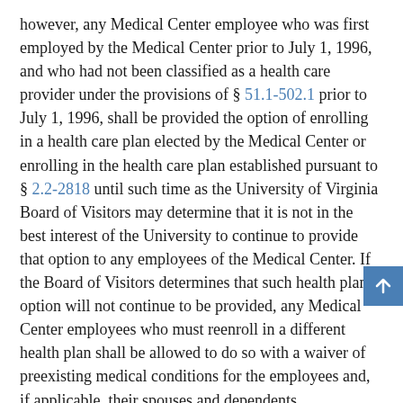however, any Medical Center employee who was first employed by the Medical Center prior to July 1, 1996, and who had not been classified as a health care provider under the provisions of § 51.1-502.1 prior to July 1, 1996, shall be provided the option of enrolling in a health care plan elected by the Medical Center or enrolling in the health care plan established pursuant to § 2.2-2818 until such time as the University of Virginia Board of Visitors may determine that it is not in the best interest of the University to continue to provide that option to any employees of the Medical Center. If the Board of Visitors determines that such health plan option will not continue to be provided, any Medical Center employees who must reenroll in a different health plan shall be allowed to do so with a waiver of preexisting medical conditions for the employees and, if applicable, their spouses and dependents.
Subject to such eligibility criteria as it may establish, the Medical Center may make available to any of its